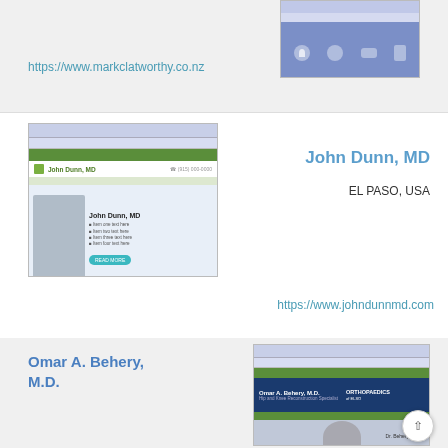[Figure (screenshot): Screenshot of markclatworthy.co.nz website with blue/purple header and icons]
https://www.markclatworthy.co.nz
[Figure (screenshot): Screenshot of johndunnmd.com website showing John Dunn MD with photo]
John Dunn, MD
EL PASO, USA
https://www.johndunnmd.com
Omar A. Behery, M.D.
[Figure (screenshot): Screenshot of Omar A. Behery M.D. website showing orthopedic surgeon with dark blue header]